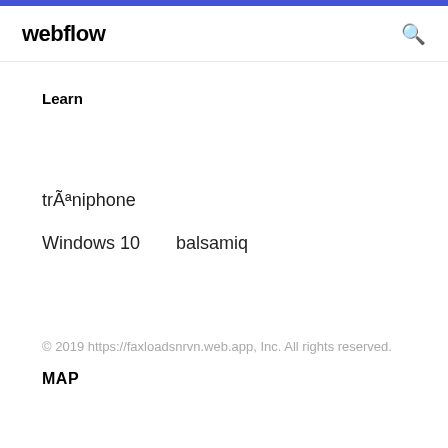webflow
Learn
trÃªniphone
Windows 10    balsamiq
© 2019 https://faxloadsnrvn.web.app, Inc. All rights reserved.
MAP